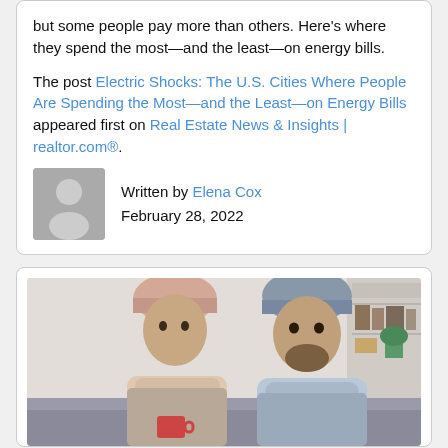but some people pay more than others. Here's where they spend the most—and the least—on energy bills.
The post Electric Shocks: The U.S. Cities Where People Are Spending the Most—and the Least—on Energy Bills appeared first on Real Estate News & Insights | realtor.com®.
Written by Elena Cox
February 28, 2022
[Figure (photo): A young couple wearing winter hats (beanies) and wrapped in scarves and blankets, sitting on a couch indoors, appearing cold. The woman wears a pink/beige beanie and holds a mug. The man wears a grey beanie. Background shows shelves with books and plants.]